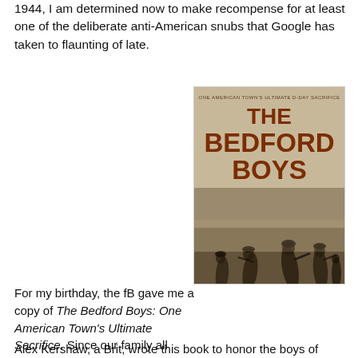1944, I am determined now to make recompense for at least one of the deliberate anti-American snubs that Google has taken to flaunting of late.
For my birthday, the fB gave me a copy of The Bedford Boys: One American Town's Ultimate Sacrifice. Since our family all share the bookaholic gene, we give one another books presents that we want to read. And if the recipient should leave their gift lying around unread for more than a week or so, then it's up for grabs. Fortunately, I started on it the day after receiving The Bedford Boys, so the pages have my peanut butter sandwich stains on them. These marks are considered prima facie evidence of reading rights.
[Figure (illustration): Book cover of 'The Bedford Boys: One American Town's Ultimate D-Day Sacrifice' by Alex Kershaw, showing soldiers wading through water during the D-Day invasion, with the title in large dark red text on a tan/sepia background.]
Alex Kershaw, a Brit, wrote this book to honor the boys of